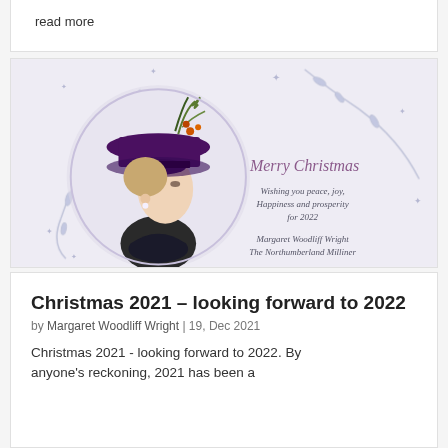read more
[Figure (photo): Christmas card image: a young woman wearing a large dark purple felt hat decorated with feathers and autumn berries, shown in profile within a circular frame with decorative winter foliage (pale blue leaves and stars). To the right, script text reads: 'Merry Christmas / Wishing you peace, joy, / Happiness and prosperity / for 2022 / Margaret Woodliff Wright / The Northumberland Milliner']
Christmas 2021 – looking forward to 2022
by Margaret Woodliff Wright | 19, Dec 2021
Christmas 2021 - looking forward to 2022. By anyone's reckoning, 2021 has been a